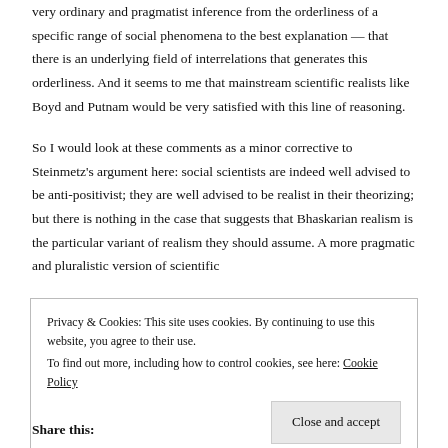very ordinary and pragmatist inference from the orderliness of a specific range of social phenomena to the best explanation — that there is an underlying field of interrelations that generates this orderliness. And it seems to me that mainstream scientific realists like Boyd and Putnam would be very satisfied with this line of reasoning.
So I would look at these comments as a minor corrective to Steinmetz's argument here: social scientists are indeed well advised to be anti-positivist; they are well advised to be realist in their theorizing; but there is nothing in the case that suggests that Bhaskarian realism is the particular variant of realism they should assume. A more pragmatic and pluralistic version of scientific
Privacy & Cookies: This site uses cookies. By continuing to use this website, you agree to their use.
To find out more, including how to control cookies, see here: Cookie Policy
Close and accept
Share this: